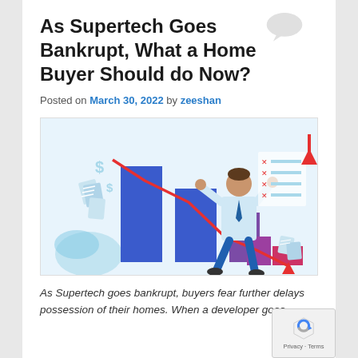As Supertech Goes Bankrupt, What a Home Buyer Should do Now?
Posted on March 30, 2022 by zeeshan
[Figure (illustration): An illustration showing a person with hands on head looking distressed, standing beside declining bar charts (blue and purple bars) with a red downward-trending line chart and falling dollar signs, representing financial loss or bankruptcy.]
As Supertech goes bankrupt, buyers fear further delays possession of their homes. When a developer goes